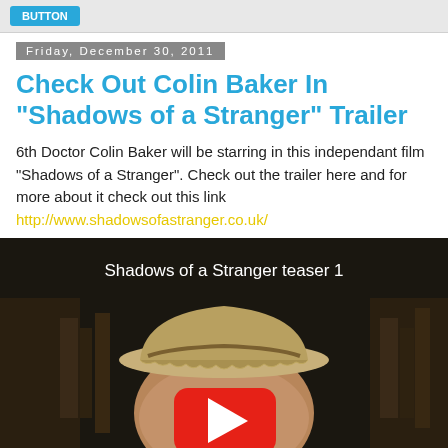Friday, December 30, 2011
Check Out Colin Baker In "Shadows of a Stranger" Trailer
6th Doctor Colin Baker will be starring in this independant film "Shadows of a Stranger". Check out the trailer here and for more about it check out this link
http://www.shadowsofastranger.co.uk/
[Figure (screenshot): YouTube video thumbnail showing 'Shadows of a Stranger teaser 1' with a man wearing a hat and a YouTube play button overlay]